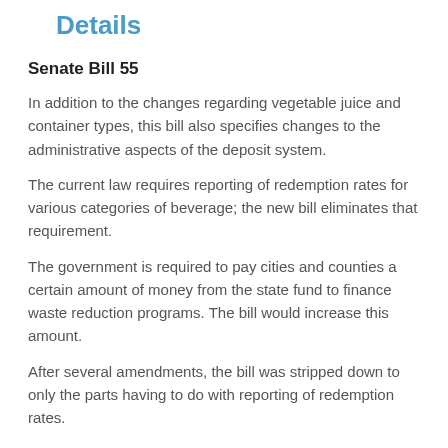Details
Senate Bill 55
In addition to the changes regarding vegetable juice and container types, this bill also specifies changes to the administrative aspects of the deposit system.
The current law requires reporting of redemption rates for various categories of beverage; the new bill eliminates that requirement.
The government is required to pay cities and counties a certain amount of money from the state fund to finance waste reduction programs. The bill would increase this amount.
After several amendments, the bill was stripped down to only the parts having to do with reporting of redemption rates.